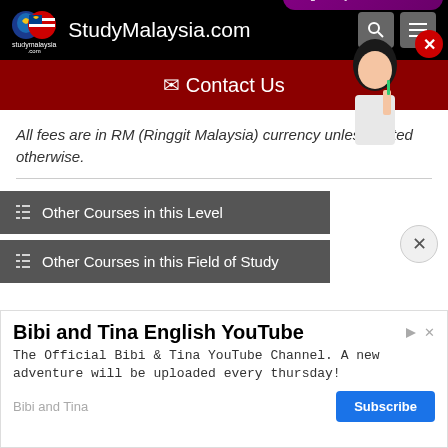StudyMalaysia.com
✉ Contact Us
All fees are in RM (Ringgit Malaysia) currency unless stated otherwise.
[Figure (infographic): Course Interest Test popup with student image and Malaysian flag check icon. Text: 'Course Interest Test - Find out what course is right for you!']
Other Courses in this Level
Other Courses in this Field of Study
[Figure (screenshot): Advertisement for Bibi and Tina English YouTube channel with Subscribe button]
Bibi and Tina English YouTube
The Official Bibi & Tina YouTube Channel. A new adventure will be uploaded every thursday!
Bibi and Tina